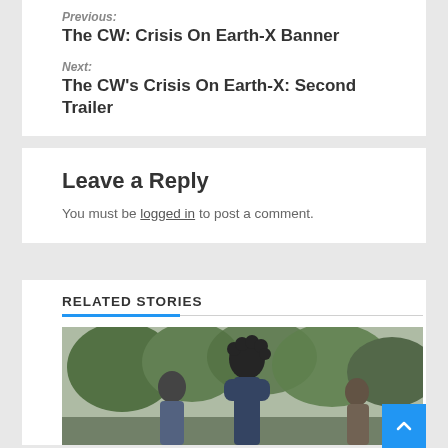Previous:
The CW: Crisis On Earth-X Banner
Next:
The CW’s Crisis On Earth-X: Second Trailer
Leave a Reply
You must be logged in to post a comment.
RELATED STORIES
[Figure (photo): Photo of people outdoors, person with curly dark hair in foreground]